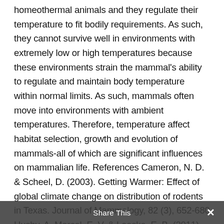homeothermal animals and they regulate their temperature to fit bodily requirements. As such, they cannot survive well in environments with extremely low or high temperatures because these environments strain the mammal's ability to regulate and maintain body temperature within normal limits. As such, mammals often move into environments with ambient temperatures. Therefore, temperature affect habitat selection, growth and evolution of mammals-all of which are significant influences on mammalian life. References Cameron, N. D. & Scheel, D. (2003). Getting Warmer: Effect of global climate change on distribution of rodents in Texas. Journal of Mammalogy, 82 (3), 652-680 Husby, A. Marcel, E. V. & Loeske, E. B. (2011). Speeding up
Share This ✕